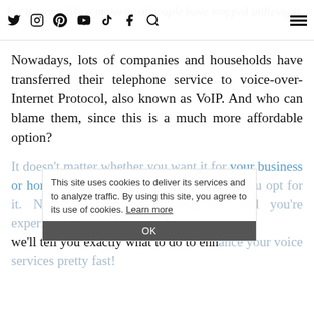but it seems like a majority of people have stopped utilizing it.
Nowadays, lots of companies and households have transferred their telephone service to voice-over-Internet Protocol, also known as VoIP. And who can blame them, since this is a much more affordable option?
It doesn't matter whether you want it for your business or home, you won't make any mistakes if you opt for it. Now, in case you already do, and you're experiencing some issues, below we'll tell you exactly what to do to enhance your voice services pretty fast!
This site uses cookies to deliver its services and to analyze traffic. By using this site, you agree to its use of cookies. Learn more
OK